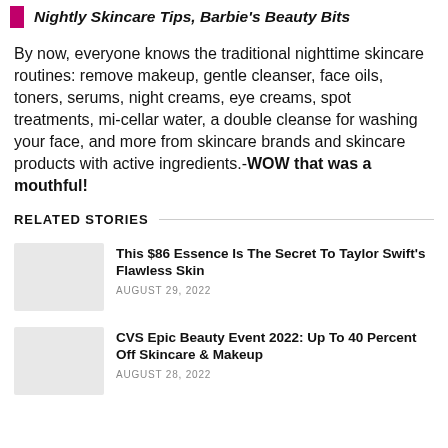Nightly Skincare Tips, Barbie's Beauty Bits
By now, everyone knows the traditional nighttime skincare routines: remove makeup, gentle cleanser, face oils, toners, serums, night creams, eye creams, spot treatments, mi-cellar water, a double cleanse for washing your face, and more from skincare brands and skincare products with active ingredients.-WOW that was a mouthful!
RELATED STORIES
This $86 Essence Is The Secret To Taylor Swift's Flawless Skin
AUGUST 29, 2022
CVS Epic Beauty Event 2022: Up To 40 Percent Off Skincare & Makeup
AUGUST 28, 2022